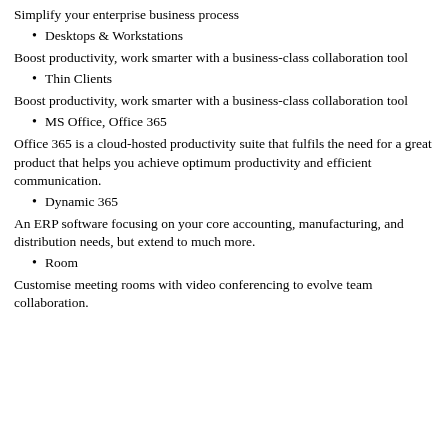Simplify your enterprise business process
Desktops & Workstations
Boost productivity, work smarter with a business-class collaboration tool
Thin Clients
Boost productivity, work smarter with a business-class collaboration tool
MS Office, Office 365
Office 365 is a cloud-hosted productivity suite that fulfils the need for a great product that helps you achieve optimum productivity and efficient communication.
Dynamic 365
An ERP software focusing on your core accounting, manufacturing, and distribution needs, but extend to much more.
Room
Customise meeting rooms with video conferencing to evolve team collaboration.